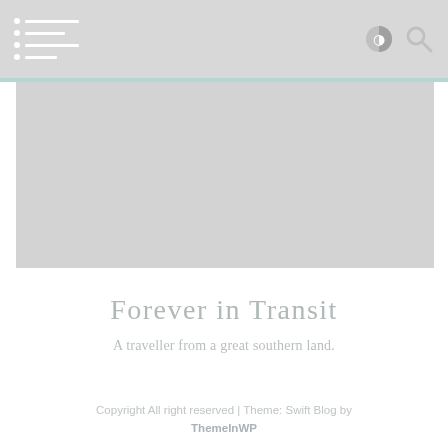Navigation header with hamburger menu and icons
[Figure (screenshot): Large gray hero image placeholder]
Forever in Transit
A traveller from a great southern land.
Copyright All right reserved | Theme: Swift Blog by ThemeInWP